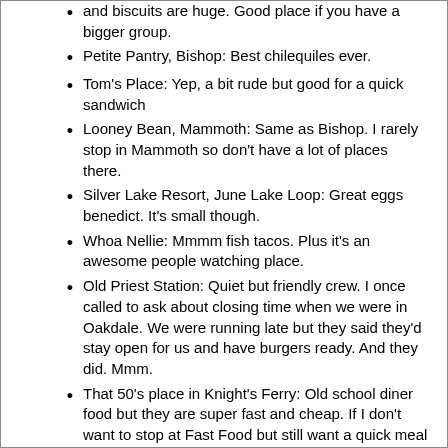and biscuits are huge. Good place if you have a bigger group.
Petite Pantry, Bishop: Best chilequiles ever.
Tom's Place: Yep, a bit rude but good for a quick sandwich
Looney Bean, Mammoth: Same as Bishop. I rarely stop in Mammoth so don't have a lot of places there.
Silver Lake Resort, June Lake Loop: Great eggs benedict. It's small though.
Whoa Nellie: Mmmm fish tacos. Plus it's an awesome people watching place.
Old Priest Station: Quiet but friendly crew. I once called to ask about closing time when we were in Oakdale. We were running late but they said they'd stay open for us and have burgers ready. And they did. Mmm.
That 50's place in Knight's Ferry: Old school diner food but they are super fast and cheap. If I don't want to stop at Fast Food but still want a quick meal this is my normal stopping place. You get exactly what you'd expect here, from the liver and onions to the patty melt and fries.
(ps: I'm kind of over Schatts. Can't stand the crowds there and I think they are overpriced. I just don't feel